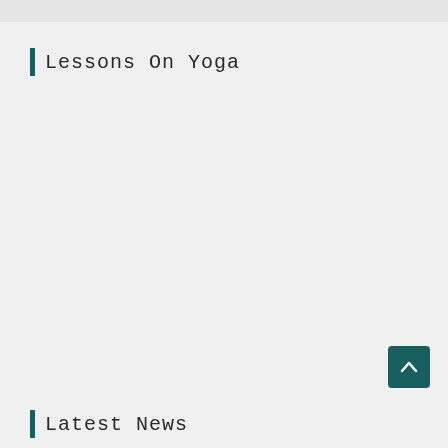Lessons On Yoga
[Figure (other): Scroll to top button with upward chevron arrow]
Latest News